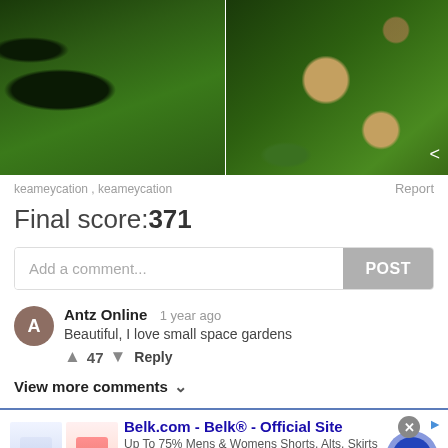[Figure (photo): Two garden photos side by side: left shows a lawn with dark soil patches, right shows a garden with stepping stones set in grass and plants with flowers]
keameycation , keameycation
Report
Final score:371
Add a comment...
POST
Antz Online  1 year ago
Beautiful, I love small space gardens
▲ 47 ▼  Reply
View more comments ∨
[Figure (screenshot): Advertisement for Belk.com showing clothing images (skirts/shorts), ad title 'Belk.com - Belk® - Official Site', description 'Up To 75% Mens & Womens Shorts, Alts, Skirts & Swim', URL www.belk.com, with navigation arrow button]